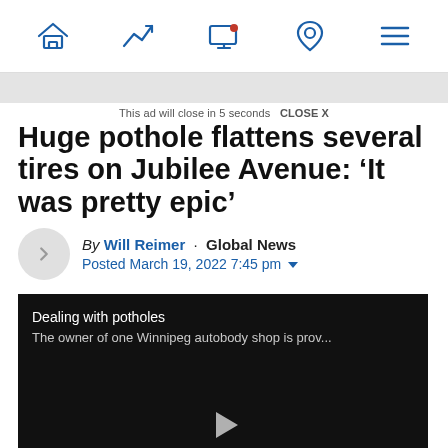Navigation bar with home, trending, screen, location, and menu icons
This ad will close in 5 seconds  CLOSE X
Huge pothole flattens several tires on Jubilee Avenue: ‘It was pretty epic’
By Will Reimer · Global News
Posted March 19, 2022 7:45 pm
[Figure (screenshot): Embedded video player with black background showing title 'Dealing with potholes' and subtitle 'The owner of one Winnipeg autobody shop is prov...' with a play button in the center]